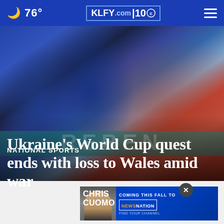76° KLFY.com 10
[Figure (photo): Blurred photo of soccer players in blue Ukraine kit reacting on pitch, with red-clad crowd in background and teal stadium advertising board showing partial text]
NATIONAL SPORTS
Ukraine's World Cup quest ends with loss to Wales amid war
[Figure (photo): Advertisement banner: Chris Cuomo Coming This Fall to NewsNation - Find Your Channel, with photo of Chris Cuomo]
Ukraine players react after Wales' Gareth Bale scored his side's opening